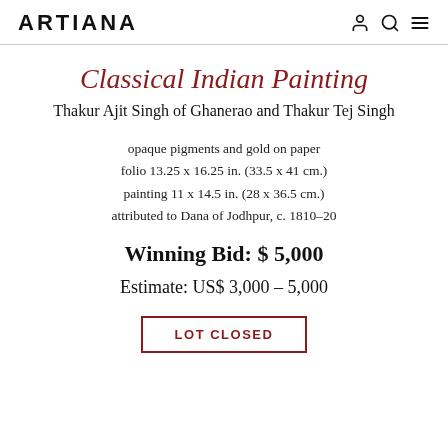ARTIANA
Classical Indian Painting
Thakur Ajit Singh of Ghanerao and Thakur Tej Singh
opaque pigments and gold on paper
folio 13.25 x 16.25 in. (33.5 x 41 cm.)
painting 11 x 14.5 in. (28 x 36.5 cm.)
attributed to Dana of Jodhpur, c. 1810-20
Winning Bid: $ 5,000
Estimate: US$ 3,000 – 5,000
LOT CLOSED